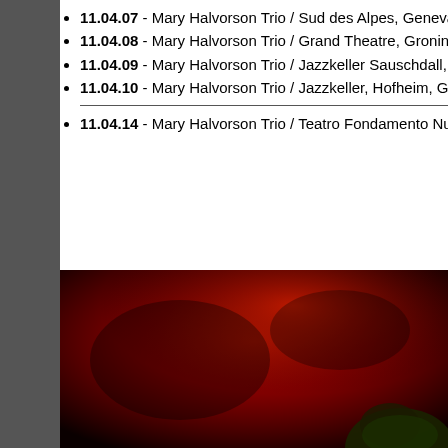11.04.07 - Mary Halvorson Trio / Sud des Alpes, Geneva, Sw
11.04.08 - Mary Halvorson Trio / Grand Theatre, Groningen
11.04.09 - Mary Halvorson Trio / Jazzkeller Sauschdall, Uln
11.04.10 - Mary Halvorson Trio / Jazzkeller, Hofheim, Gern
11.04.14 - Mary Halvorson Trio / Teatro Fondamento Nuove
[Figure (photo): Concert photo with dramatic red lighting and a performer visible at bottom right, dark background with red smoke/light effects]